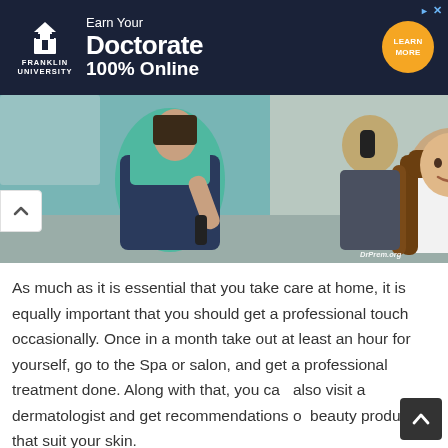[Figure (screenshot): Advertisement banner for Franklin University: dark navy background with university logo on left, text 'Earn Your Doctorate 100% Online' in center, orange circular Learn More button on right. Ad corner icons in top right.]
[Figure (photo): A hairstylist in a dark apron and teal shirt using a flat iron on a smiling woman with long brown hair seated in a salon chair wearing a white cape. Another stylist visible in the background. DrPrem.org watermark in bottom right.]
As much as it is essential that you take care at home, it is equally important that you should get a professional touch occasionally. Once in a month take out at least an hour for yourself, go to the Spa or salon, and get a professional treatment done. Along with that, you can also visit a dermatologist and get recommendations of beauty products that suit your skin.